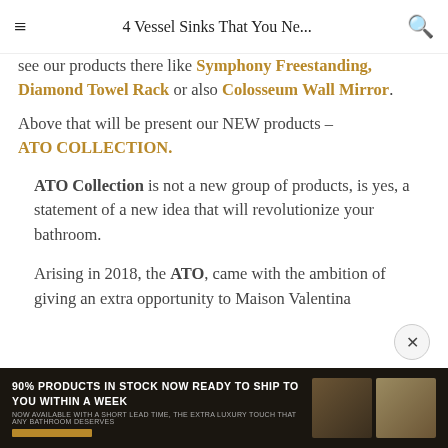4 Vessel Sinks That You Ne...
see our products there like Symphony Freestanding, Diamond Towel Rack or also Colosseum Wall Mirror.
Above that will be present our NEW products – ATO COLLECTION.
ATO Collection is not a new group of products, is yes, a statement of a new idea that will revolutionize your bathroom.
Arising in 2018, the ATO, came with the ambition of giving an extra opportunity to Maison Valentina
90% PRODUCTS IN STOCK NOW READY TO SHIP TO YOU WITHIN A WEEK
NOW AVAILABLE WITH A SHORT LEAD TIME, THE EXTRA LUXURY TOUCH THAT ANY BATHROOM DESERVES